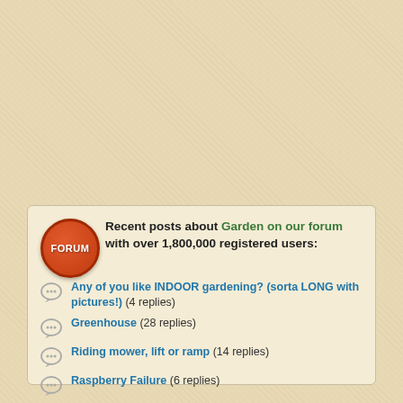Recent posts about Garden on our forum with over 1,800,000 registered users:
Any of you like INDOOR gardening? (sorta LONG with pictures!) (4 replies)
Greenhouse (28 replies)
Riding mower, lift or ramp (14 replies)
Raspberry Failure (6 replies)
Will my wisteria plant ever grow? (22 replies)
Is it safe to store seed (to sow later) w/ food grade Diatomaceous earth (to keep insects from ruining it) . . . ? (2 replies)